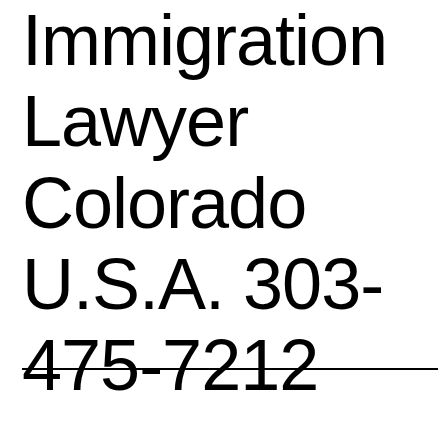Immigration Lawyer Colorado U.S.A. 303-475-7212